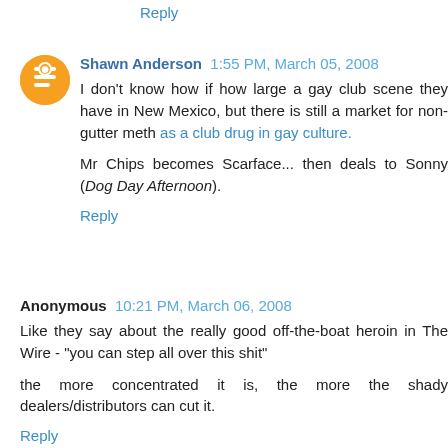Reply
Shawn Anderson 1:55 PM, March 05, 2008
I don't know how if how large a gay club scene they have in New Mexico, but there is still a market for non-gutter meth as a club drug in gay culture.
Mr Chips becomes Scarface... then deals to Sonny (Dog Day Afternoon).
Reply
Anonymous 10:21 PM, March 06, 2008
Like they say about the really good off-the-boat heroin in The Wire - "you can step all over this shit"
the more concentrated it is, the more the shady dealers/distributors can cut it.
Reply